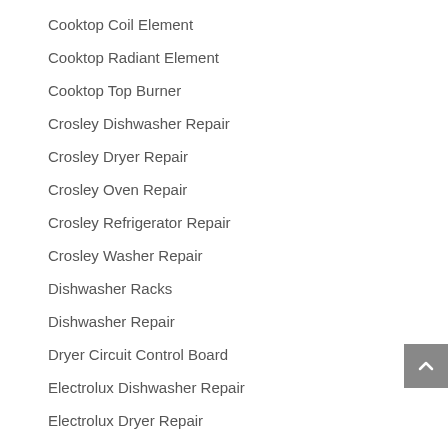Cooktop Coil Element
Cooktop Radiant Element
Cooktop Top Burner
Crosley Dishwasher Repair
Crosley Dryer Repair
Crosley Oven Repair
Crosley Refrigerator Repair
Crosley Washer Repair
Dishwasher Racks
Dishwasher Repair
Dryer Circuit Control Board
Electrolux Dishwasher Repair
Electrolux Dryer Repair
Electrolux Oven Repair
Electrolux Range Repair